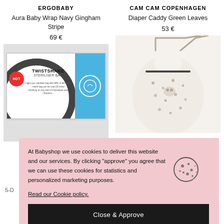ERGOBABY
Aura Baby Wrap Navy Gingham Stripe
69 €
CAM CAM COPENHAGEN
Diaper Caddy Green Leaves
53 €
[Figure (photo): Twistshake Steriliser Bag product box with HOT badge]
[Figure (photo): Cam Cam Copenhagen baby bib/caddy with leaf pattern and handles]
5-D
At Babyshop we use cookies to deliver this website and our services. By clicking "approve" you agree that we can use these cookies for statistics and personalized marketing purposes. Read our Cookie policy.
Close & Approve